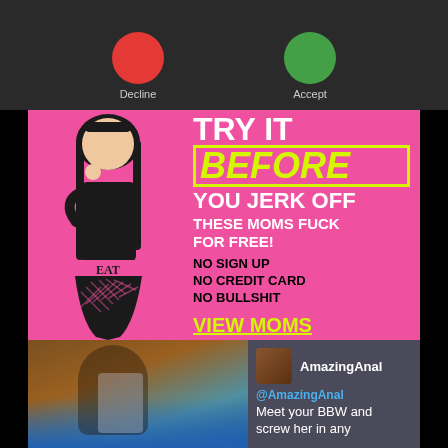[Figure (screenshot): Phone call interface showing Decline (red) and Accept (green) buttons on dark background]
[Figure (advertisement): Pink adult advertisement banner with anime-style illustration and text: TRY IT BEFORE YOU JERK OFF THESE MOMS FUCK FOR FREE! NO SIGN UP NO CREDIT CARD NO BULLSHIT VIEW MOMS]
[Figure (screenshot): Social media post from @AmazingAnal showing a selfie. Text reads: Meet your BBW and screw her in any]